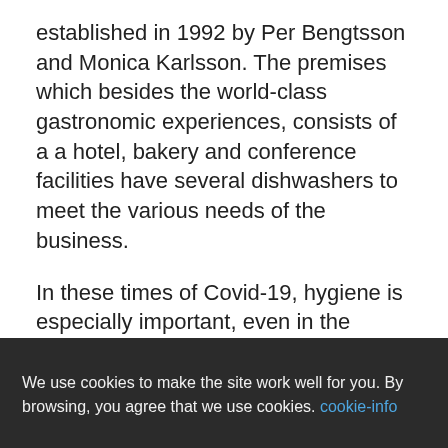established in 1992 by Per Bengtsson and Monica Karlsson. The premises which besides the world-class gastronomic experiences, consists of a a hotel, bakery and conference facilities have several dishwashers to meet the various needs of the business.
In these times of Covid-19, hygiene is especially important, even in the dishwashing room. Avoiding touch and contact of dirty and clean dishes has become extremely important for both staff and guests.
We talked to Per Bengtsson, owner and CEO of PM & Friends:
We use cookies to make the site work well for you. By browsing, you agree that we use cookies. cookie-info